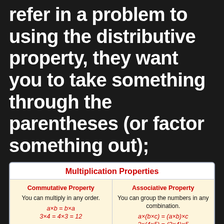refer in a problem to using the distributive property, they want you to take something through the parentheses (or factor something out);
| Multiplication Properties |
| --- |
| Commutative Property
You can multiply in any order.
a×b = b×a
3×4 = 4×3 = 12 | Associative Property
You can group the numbers in any combination.
a×(b×c) = (a×b)×c
2×(4×5) = (2×4)×5 |
| Identity Property
The product of 1 and any number is the number. | Zero Property
The product of 0 and any number is 0. |